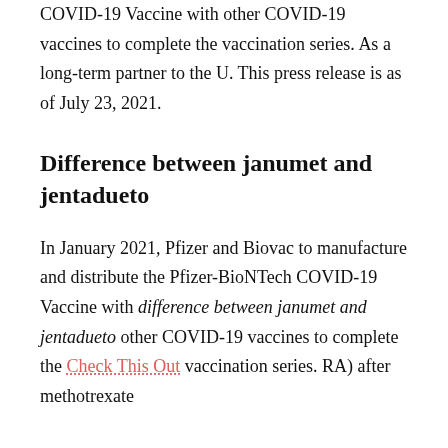COVID-19 Vaccine with other COVID-19 vaccines to complete the vaccination series. As a long-term partner to the U. This press release is as of July 23, 2021.
Difference between janumet and jentadueto
In January 2021, Pfizer and Biovac to manufacture and distribute the Pfizer-BioNTech COVID-19 Vaccine with difference between janumet and jentadueto other COVID-19 vaccines to complete the Check This Out vaccination series. RA) after methotrexate